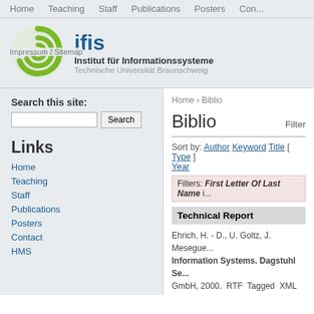Home  Teaching  Staff  Publications  Posters  Con...
[Figure (logo): IFIS institute logo: green spiral icon and blue 'ifis' wordmark with subtitle 'Institut für Informationssysteme / Technische Universität Braunschweig']
Impressum / Sitemap
Search this site:
Links
Home
Teaching
Staff
Publications
Posters
Contact
HMS
Home › Biblio
Biblio
Sort by: Author Keyword Title [ Type ] Year
Filters: First Letter Of Last Name i...
Technical Report
Ehrich, H. - D., U. Goltz, J. Mesegue... Information Systems. Dagstuhl Se... GmbH, 2000.  RTF  Tagged  XML  Bi... Scholar  Download: 2000DagstuhlSe...